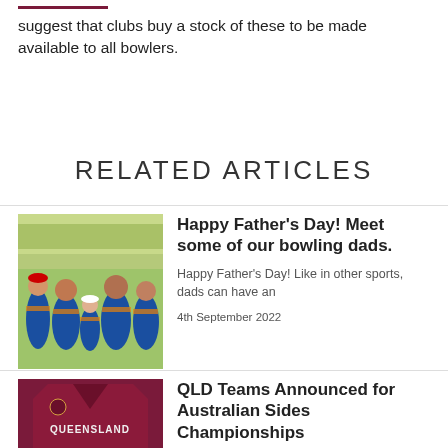suggest that clubs buy a stock of these to be made available to all bowlers.
RELATED ARTICLES
[Figure (photo): Group photo of men and a child in blue bowling uniforms standing on a bowling green]
Happy Father's Day! Meet some of our bowling dads.
Happy Father's Day! Like in other sports, dads can have an
4th September 2022
[Figure (photo): Back of a maroon Queensland bowling shirt with 'QUEENSLAND' text]
QLD Teams Announced for Australian Sides Championships